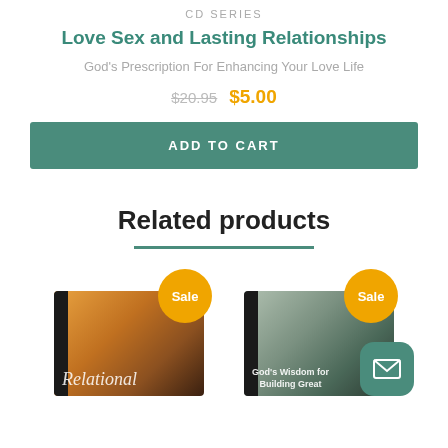CD SERIES
Love Sex and Lasting Relationships
God's Prescription For Enhancing Your Love Life
$20.95  $5.00
ADD TO CART
Related products
[Figure (other): Two product CD covers shown as related products, each with an orange Sale badge. Left product: Relational (CD cover with warm orange gradient). Right product: God's Wisdom for Building Great (CD cover with green/grey gradient).]